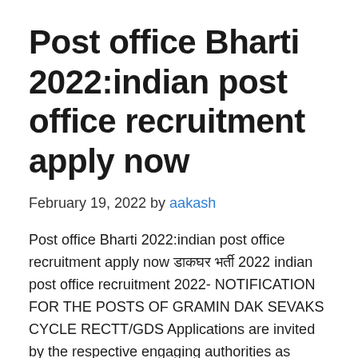Post office Bharti 2022:indian post office recruitment apply now
February 19, 2022 by aakash
Post office Bharti 2022:indian post office recruitment apply now डाकघर भर्ती 2022 indian post office recruitment 2022- NOTIFICATION FOR THE POSTS OF GRAMIN DAK SEVAKS CYCLE RECTT/GDS Applications are invited by the respective engaging authorities as shown in the